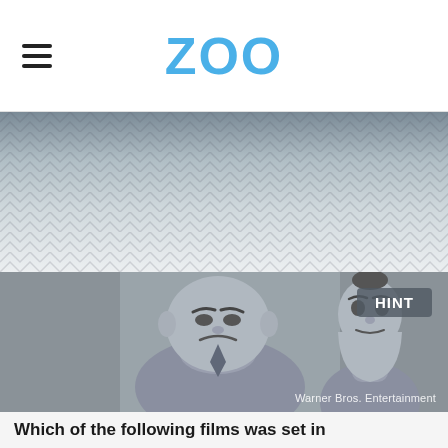ZOO
[Figure (other): Light gray decorative ad banner area with subtle chevron/zigzag pattern background]
[Figure (photo): Grayscale still from an animated film showing two cartoon villain characters. A short, stout bald character with a frowning expression on the left, and a tall thin character with an exaggerated elongated chin on the right. Watermark reads: Warner Bros. Entertainment. A 'HINT' button appears in the top-right corner.]
Which of the following films was set in